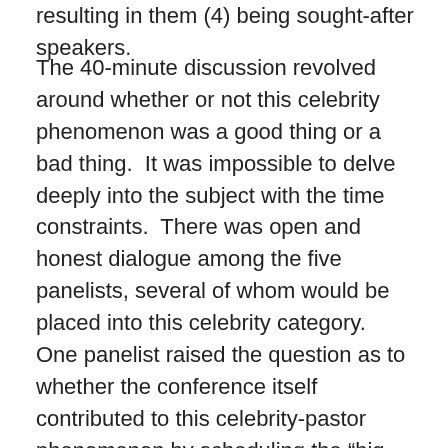resulting in them (4) being sought-after speakers.
The 40-minute discussion revolved around whether or not this celebrity phenomenon was a good thing or a bad thing.  It was impossible to delve deeply into the subject with the time constraints.  There was open and honest dialogue among the five panelists, several of whom would be placed into this celebrity category.  One panelist raised the question as to whether the conference itself contributed to this celebrity-pastor phenomenon by scheduling the “big names” to address the 8,000 registered attendees, knowing they would draw in the crowds.  He expressed the opinion that predictably turning to the big names to address the big crowds feeds this celebrity craze.  He tossed out a challenge that, to make a visible statement against celebrity pastors, the conference organizers invite a “no-name,” common,